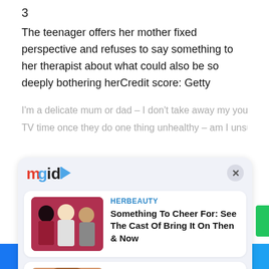3
The teenager offers her mother fixed perspective and refuses to say something to her therapist about what could also be so deeply bothering herCredit score: Getty
I'm a delicate mum or dad – I don't take away my youngste…TV time one they do one thing unhealthy – am I unsuitable?
[Figure (screenshot): MGID content widget overlay with two article cards. First card: HERBEAUTY - Something To Cheer For: See The Cast Of Bring It On Then & Now, with group photo thumbnail. Second card: BRAINBERRIES - 6 Things Women Found Really Attractive In The 60's, with man with berry beard thumbnail. Widget has mgid logo and X close button.]
Facebook share button | Twitter share button